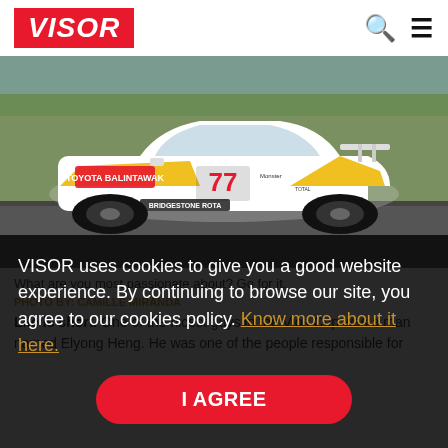VISOR
[Figure (photo): Toyota Vios Cup race car number 77 with yellow and white livery, Toyota Balintawak and Bridgestone Rota sponsorship decals, on a race track with green grass in background]
What are you most passionate about? Go for it. PHOTO BY: CAMILLE MIRANDA
Life is short. One of the nicest guys in the Vios Cup was a man named Elyong Heng. He was one of the people responsible for
VISOR uses cookies to give you a good website experience. By continuing to browse our site, you agree to our cookies policy. Know more about it here.
I AGREE